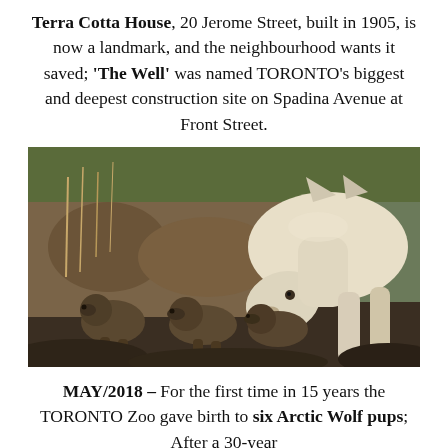Terra Cotta House, 20 Jerome Street, built in 1905, is now a landmark, and the neighbourhood wants it saved; 'The Well' was named TORONTO's biggest and deepest construction site on Spadina Avenue at Front Street.
[Figure (photo): A white Arctic wolf adult bending its head down toward three small dark-furred wolf pups in a rocky/earthy den environment with roots and vegetation visible in the background.]
MAY/2018 – For the first time in 15 years the TORONTO Zoo gave birth to six Arctic Wolf pups; After a 30-year